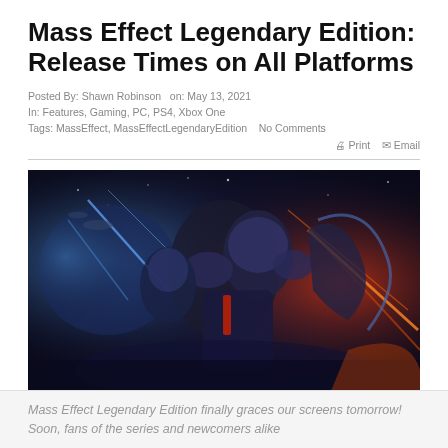Mass Effect Legendary Edition: Release Times on All Platforms
Posted By: Shawn Robinson  on: May 13, 2021
In: Features, Gaming, PC, PS4, Xbox One
Tags: MassEffect, MassEffectLegendaryEdition   No Comments
🖨 Print  ✉ Email
[Figure (photo): Mass Effect Legendary Edition key art showing armored characters against a dramatic space background with blue and red lighting]
Mass Effect Legendary Edition finally graces our screens tomorrow! Soon, fans of the series and newcomers alike